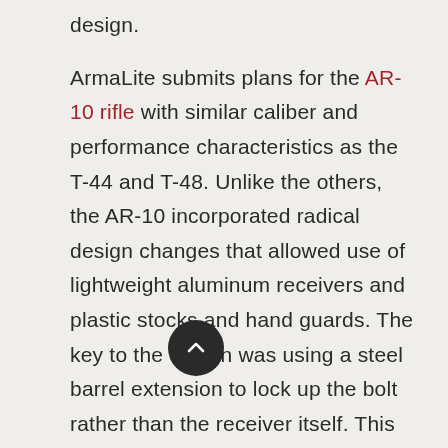design.
ArmaLite submits plans for the AR-10 rifle with similar caliber and performance characteristics as the T-44 and T-48. Unlike the others, the AR-10 incorporated radical design changes that allowed use of lightweight aluminum receivers and plastic stocks and hand guards. The key to the design was using a steel barrel extension to lock up the bolt rather than the receiver itself. This allowed use of lighter and less strong materials for receiver construction. The AR-10 weighed less than seven pounds – in theory allowing a solider to carry three extra pounds of ammunition and/or gear.